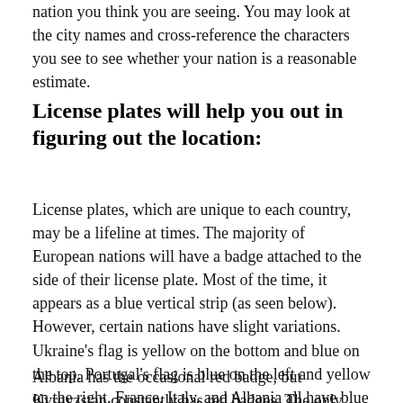nation you think you are seeing. You may look at the city names and cross-reference the characters you see to see whether your nation is a reasonable estimate.
License plates will help you out in figuring out the location:
License plates, which are unique to each country, may be a lifeline at times. The majority of European nations will have a badge attached to the side of their license plate. Most of the time, it appears as a blue vertical strip (as seen below). However, certain nations have slight variations. Ukraine's flag is yellow on the bottom and blue on the top. Portugal's flag is blue on the left and yellow on the right. France, Italy, and Albania all have blue emblems that may be worn on either side.
Albania has the occasional red badge, but Kyrgyzstan constantly has red badges. The only European nations